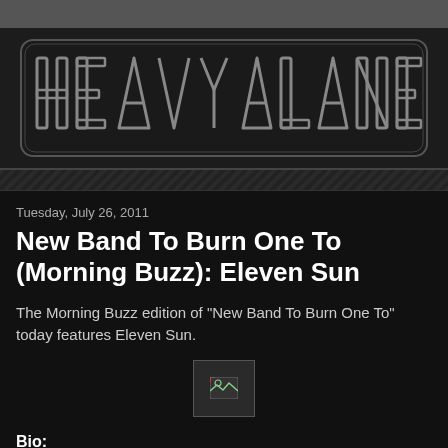[Figure (logo): Heavy Planet logo in large stylized block letters with metallic/chrome effect on dark background]
Tuesday, July 26, 2011
New Band To Burn One To (Morning Buzz): Eleven Sun
The Morning Buzz edition of "New Band To Burn One To" today features Eleven Sun.
[Figure (photo): Broken/missing image placeholder]
Bio:
ELEVEN SUN YESTERDAY